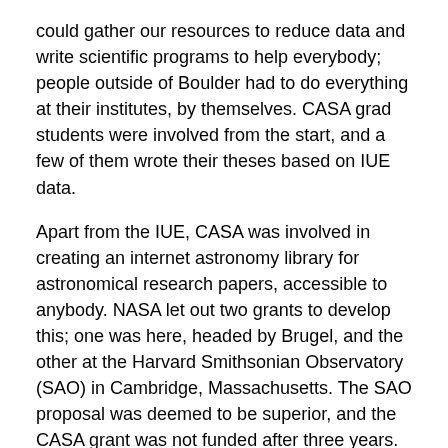could gather our resources to reduce data and write scientific programs to help everybody; people outside of Boulder had to do everything at their institutes, by themselves. CASA grad students were involved from the start, and a few of them wrote their theses based on IUE data.
Apart from the IUE, CASA was involved in creating an internet astronomy library for astronomical research papers, accessible to anybody. NASA let out two grants to develop this; one was here, headed by Brugel, and the other at the Harvard Smithsonian Observatory (SAO) in Cambridge, Massachusetts. The SAO proposal was deemed to be superior, and the CASA grant was not funded after three years. Now the Astrophysics Data System (ADS), housed at the SAO, is an essential part of astronomical research.
The CASA rocket programs